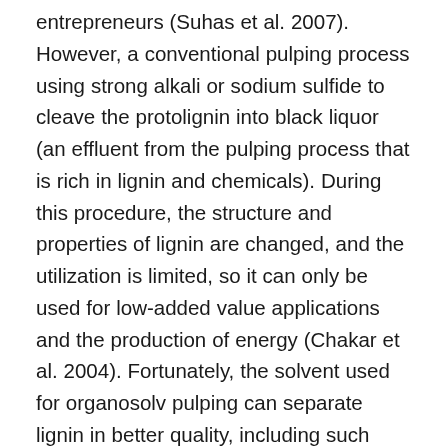entrepreneurs (Suhas et al. 2007). However, a conventional pulping process using strong alkali or sodium sulfide to cleave the protolignin into black liquor (an effluent from the pulping process that is rich in lignin and chemicals). During this procedure, the structure and properties of lignin are changed, and the utilization is limited, so it can only be used for low-added value applications and the production of energy (Chakar et al. 2004). Fortunately, the solvent used for organosolv pulping can separate lignin in better quality, including such attributes as a high purity, an absence of sulphur contaminants, and a less condensed molecular structure. As a consequence, such lignin has a wide potential usage. A number of processes involving organic solvents have been investigated, using solvents such as ethanol, acetone, dioxane, and methanol. The use of some